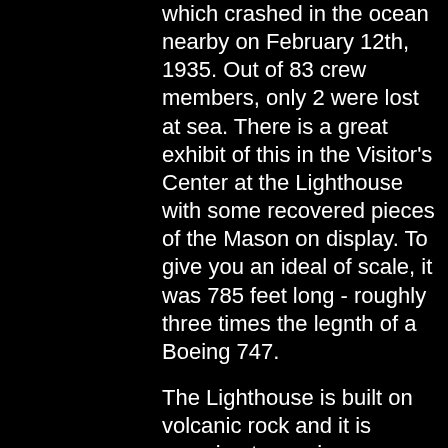which crashed in the ocean nearby on February 12th, 1935. Out of 83 crew members, only 2 were lost at sea. There is a great exhibit of this in the Visitor's Center at the Lighthouse with some recovered pieces of the Mason on display. To give you an ideal of scale, it was 785 feet long - roughly three times the legnth of a Boeing 747.
The Lighthouse is built on volcanic rock and it is amazing to see in person. The drive up to the rock reminded us of the movie, The Lady in Black. With one long pathway that would seem to wash away with the high tides leaving you stranded above the crashing ocean. We were very fortune to get access to the Lighthouse as found out we were only the 5th or 6th paranormal